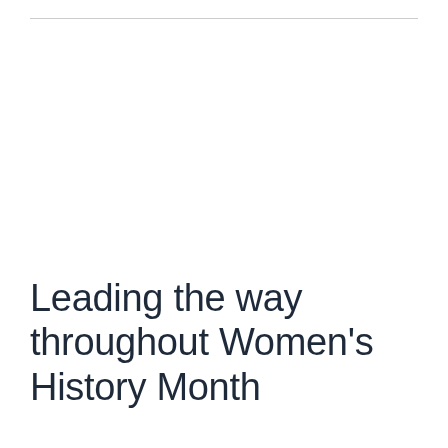Leading the way throughout Women’s History Month